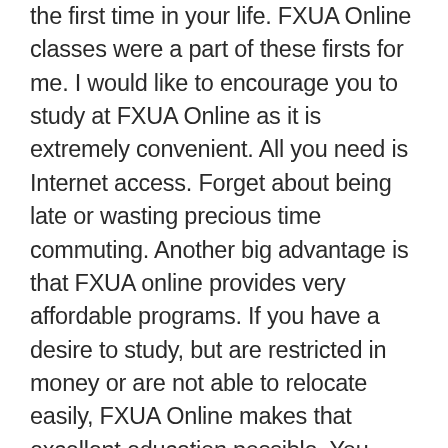the first time in your life. FXUA Online classes were a part of these firsts for me. I would like to encourage you to study at FXUA Online as it is extremely convenient. All you need is Internet access. Forget about being late or wasting precious time commuting. Another big advantage is that FXUA online provides very affordable programs. If you have a desire to study, but are restricted in money or are not able to relocate easily, FXUA Online makes that excellent education possible. You have a chance to gain profound knowledge here at FXUA Online from professors who possess teaching experience in leading American Universities, have much experience with international organizations such